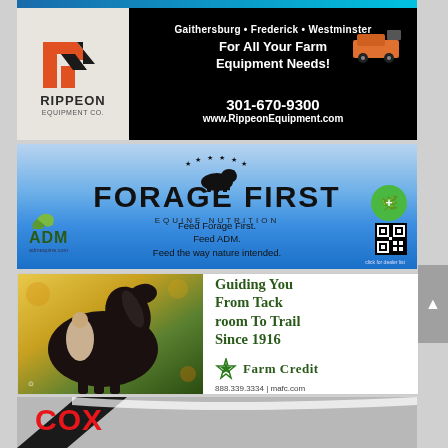[Figure (illustration): Rippeon Equipment Co. advertisement. Black background with logo on left (orange/black R icon, RIPPEON EQUIPMENT CO text). Right side: Gaithersburg • Frederick • Westminster, For All Your Farm Equipment Needs!, 301-670-9300, www.RippeonEquipment.com, with utility vehicle image.]
[Figure (illustration): Forage First Equine Nutrition advertisement by ADM. Blue gradient background with large text FORAGE FIRST, horse icon with stars, EQUINE NUTRITION subtitle, taglines: Feed Forage First. Feed ADM. Feed the way nature intended. ADM logo bottom left, QR code bottom right.]
[Figure (illustration): Farm Credit advertisement. Left half shows horse and child photo. Right half: Guiding You From Tack Room To Trail Since 1916, Farm Credit logo, 888.339.3334 | mafc.com]
[Figure (illustration): Cox advertisement (partial). Red COX text on gray background with diagonal design element.]